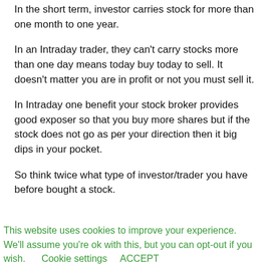In the short term, investor carries stock for more than one month to one year.
In an Intraday trader, they can't carry stocks more than one day means today buy today to sell. It doesn't matter you are in profit or not you must sell it.
In Intraday one benefit your stock broker provides good exposer so that you buy more shares but if the stock does not go as per your direction then it big dips in your pocket.
So think twice what type of investor/trader you have before bought a stock.
This website uses cookies to improve your experience. We'll assume you're ok with this, but you can opt-out if you wish.      Cookie settings     ACCEPT